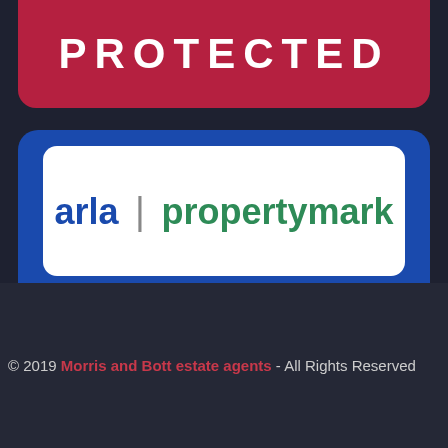[Figure (logo): Red ARLA Propertymark 'PROTECTED' badge (partial, showing bottom portion with red background and white bold uppercase text 'PROTECTED')]
[Figure (logo): Blue ARLA Propertymark 'PROTECTED' badge. White inner rounded rectangle with 'arla | propertymark' text (arla in blue, propertymark in green). Below it, white bold uppercase text 'PROTECTED' on blue background.]
© 2019 Morris and Bott estate agents - All Rights Reserved